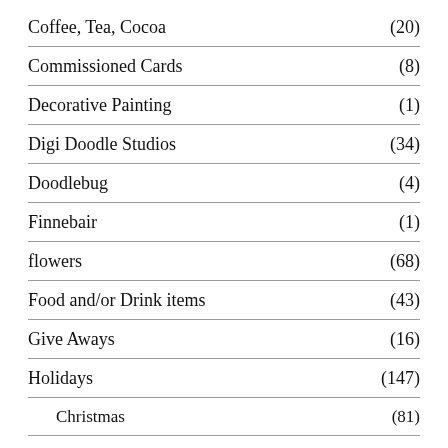Coffee, Tea, Cocoa (20)
Commissioned Cards (8)
Decorative Painting (1)
Digi Doodle Studios (34)
Doodlebug (4)
Finnebair (1)
flowers (68)
Food and/or Drink items (43)
Give Aways (16)
Holidays (147)
Christmas (81)
Easter (8)
Halloween (28)